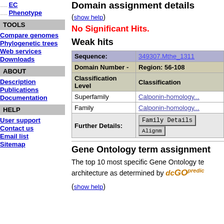EC
Phenotype
TOOLS
Compare genomes
Phylogenetic trees
Web services
Downloads
ABOUT
Description
Publications
Documentation
HELP
User support
Contact us
Email list
Sitemap
Domain assignment details
(show help)
No Significant Hits.
Weak hits
| Sequence: | 349307.Mthe_1311 |
| --- | --- |
| Domain Number - | Region: 56-108 |
| Classification Level | Classification |
| Superfamily | Calponin-homology... |
| Family | Calponin-homology... |
| Further Details: | Family Details | Alignm... |
Gene Ontology term assignment
The top 10 most specific Gene Ontology terms for each sequence are assigned based on the SeqDomain architecture as determined by dcGOpredict
(show help)